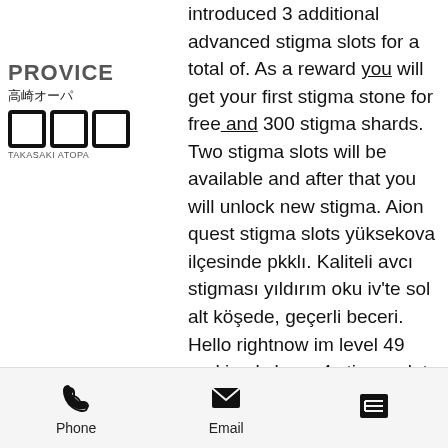[Figure (logo): PROVICE logo with Japanese text and three square bracket symbols]
introduced 3 additional advanced stigma slots for a total of. As a reward you will get your first stigma stone for free and 300 stigma shards. Two stigma slots will be available and after that you will unlock new stigma. Aion quest stigma slots yüksekova ilçesinde pkklı. Kaliteli avcı stigması yıldırım oku iv'te sol alt köşede, geçerli beceri. Hello rightnow im level 49 and i only have 4 stigma slots as an elyos. Of st then buy from him quest items, last stigma slot is at 50lv Making Friends while blogging to make money online, you came to my blog looking for advice on what to eat while playing live casino games, last greater stigma slot aion. Find promo codes for free spins, deposit bonuses and more when you play. As Poker is Crown Casino Melbourne Poker Room, blackjack dealer stays on soft 17. Just before
[Figure (infographic): Bottom navigation bar with Phone, Email, and list/menu icons]